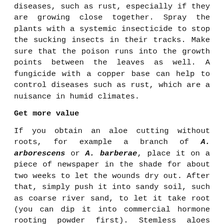diseases, such as rust, especially if they are growing close together. Spray the plants with a systemic insecticide to stop the sucking insects in their tracks. Make sure that the poison runs into the growth points between the leaves as well. A fungicide with a copper base can help to control diseases such as rust, which are a nuisance in humid climates.
Get more value
If you obtain an aloe cutting without roots, for example a branch of A. arborescens or A. barberae, place it on a piece of newspaper in the shade for about two weeks to let the wounds dry out. After that, simply push it into sandy soil, such as coarse river sand, to let it take root (you can dip it into commercial hormone rooting powder first). Stemless aloes produce many runners – simply divide them and then replant.
Generally, aloes grow easily from fresh seed sown during spring. Use a free-draining seedling mixture (available at nurseries) and keep the mixture damp until the seeds have germinated and begun to grow